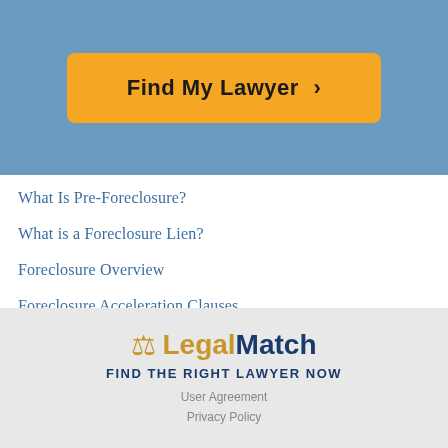[Figure (other): Find My Lawyer button on blue background header]
What Is Pre-Foreclosure?
What is a Foreclosure Lien?
Foreclosure Overview
Foreclosure Acceleration Clauses
Property Tax vs. Mortgage Foreclosure
Foreclosure Fraud Lawyers
Buying a Foreclosure Attorney
LegalMatch — FIND THE RIGHT LAWYER NOW — User Agreement — Privacy Policy